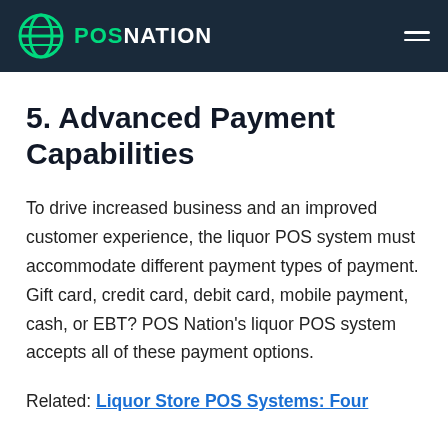POS NATION
5. Advanced Payment Capabilities
To drive increased business and an improved customer experience, the liquor POS system must accommodate different payment types of payment. Gift card, credit card, debit card, mobile payment, cash, or EBT? POS Nation's liquor POS system accepts all of these payment options.
Related: Liquor Store POS Systems: Four